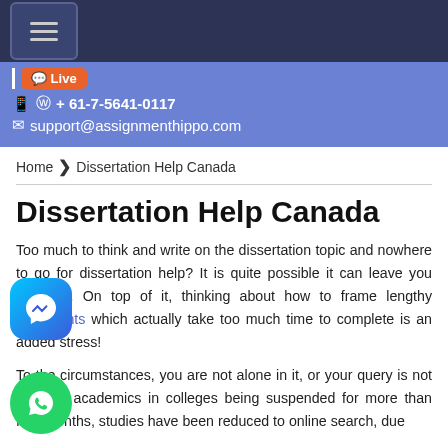☰ (hamburger menu button)
Live  | 📱 ⓦ + 61-7-5641-0117  ✉ support@assignmenthippo.com
Home › Dissertation Help Canada
Dissertation Help Canada
Too much to think and write on the dissertation topic and nowhere to go for dissertation help? It is quite possible it can leave you stressed. On top of it, thinking about how to frame lengthy documents which actually take too much time to complete is an added stress!
To the circumstances, you are not alone in it, or your query is not ours. With academics in colleges being suspended for more than four months, studies have been reduced to online search, due